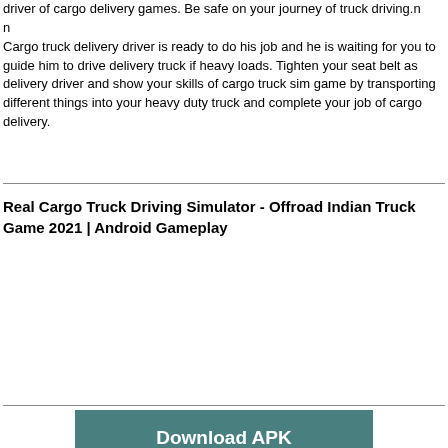driver of cargo delivery games. Be safe on your journey of truck driving.n
n
Cargo truck delivery driver is ready to do his job and he is waiting for you to guide him to drive delivery truck if heavy loads. Tighten your seat belt as delivery driver and show your skills of cargo truck sim game by transporting different things into your heavy duty truck and complete your job of cargo delivery.
Real Cargo Truck Driving Simulator - Offroad Indian Truck Game 2021 | Android Gameplay
[Figure (other): Empty video/media embed area below the section header]
Download APK